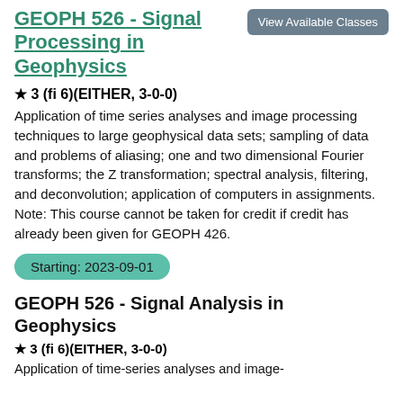GEOPH 526 - Signal Processing in Geophysics
View Available Classes
★ 3 (fi 6)(EITHER, 3-0-0)
Application of time series analyses and image processing techniques to large geophysical data sets; sampling of data and problems of aliasing; one and two dimensional Fourier transforms; the Z transformation; spectral analysis, filtering, and deconvolution; application of computers in assignments. Note: This course cannot be taken for credit if credit has already been given for GEOPH 426.
Starting: 2023-09-01
GEOPH 526 - Signal Analysis in Geophysics
★ 3 (fi 6)(EITHER, 3-0-0)
Application of time-series analyses and image-